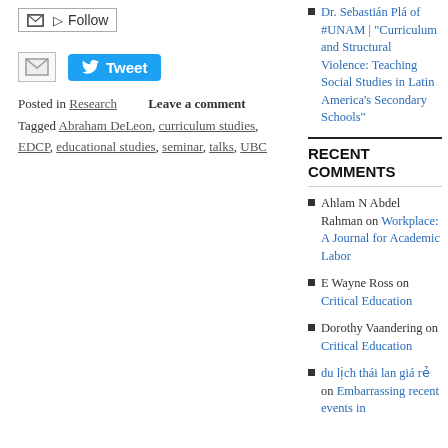Follow (email/RSS button)
Tweet button and email share
Posted in Research   Leave a comment
Tagged Abraham DeLeon, curriculum studies, EDCP, educational studies, seminar, talks, UBC
Dr. Sebastián Plá of #UNAM | "Curriculum and Structural Violence: Teaching Social Studies in Latin America's Secondary Schools"
RECENT COMMENTS
Ahlam N Abdel Rahman on Workplace: A Journal for Academic Labor
E Wayne Ross on Critical Education
Dorothy Vaandering on Critical Education
du lịch thái lan giá rẻ on Embarrassing recent events in